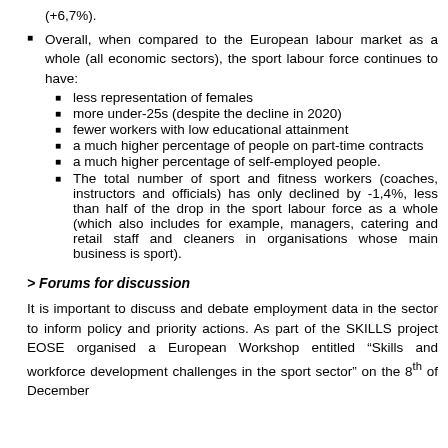(+6,7%).
Overall, when compared to the European labour market as a whole (all economic sectors), the sport labour force continues to have:
less representation of females
more under-25s (despite the decline in 2020)
fewer workers with low educational attainment
a much higher percentage of people on part-time contracts
a much higher percentage of self-employed people.
The total number of sport and fitness workers (coaches, instructors and officials) has only declined by -1,4%, less than half of the drop in the sport labour force as a whole (which also includes for example, managers, catering and retail staff and cleaners in organisations whose main business is sport).
> Forums for discussion
It is important to discuss and debate employment data in the sector to inform policy and priority actions. As part of the SKILLS project EOSE organised a European Workshop entitled “Skills and workforce development challenges in the sport sector” on the 8th of December